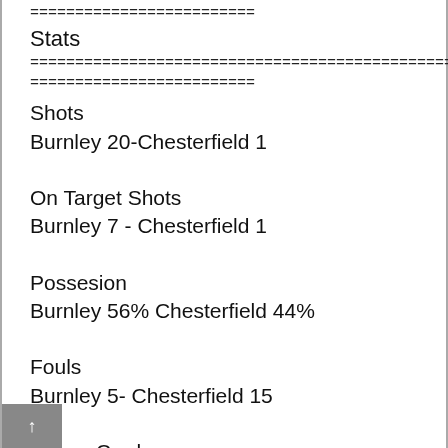=========================
Stats
================================================
=========================
Shots
Burnley 20-Chesterfield 1
On Target Shots
Burnley 7 - Chesterfield 1
Possesion
Burnley 56% Chesterfield 44%
Fouls
Burnley 5- Chesterfield 15
Yellow Cards